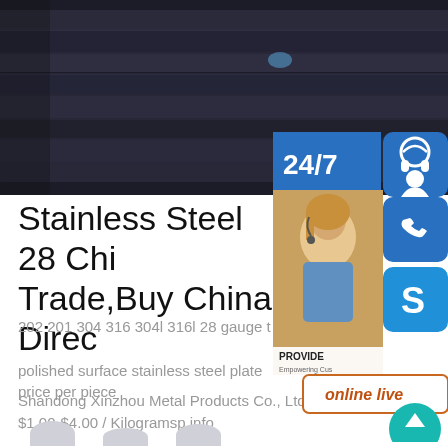[Figure (photo): Dark stainless steel bars/plates stacked, hero image at top of page]
Stainless Steel 28 Chi... Trade,Buy China Direc...
202 201 304 316 304l 316l 28 gauge t... polished surface stainless steel plate price per piece
Shandong Xinzhou Metal Products Co., Ltd. US $1.00-$4.00 / Kilogramsp.info
[Figure (infographic): Customer service widget panel on right side: 24/7 label with headset icon, customer service photo with woman in headset, phone icon box, Skype icon box, online live button, teal scroll-to-top button]